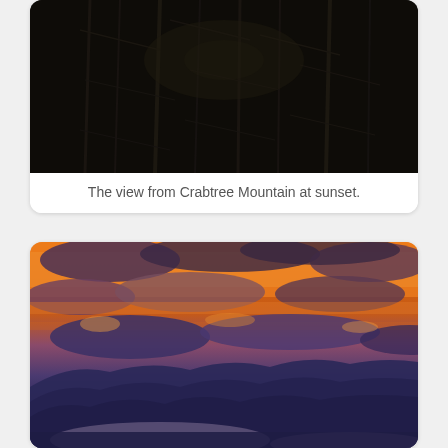[Figure (photo): Dark nighttime or dusk forest scene from Crabtree Mountain — bare tree branches against a very dark background]
The view from Crabtree Mountain at sunset.
[Figure (photo): Dramatic sunset sky over mountain ridges — vivid orange and purple clouds above blue silhouetted mountain layers with mist in the valleys]